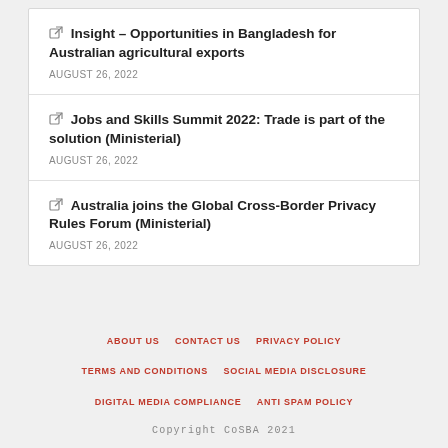Insight – Opportunities in Bangladesh for Australian agricultural exports
AUGUST 26, 2022
Jobs and Skills Summit 2022: Trade is part of the solution (Ministerial)
AUGUST 26, 2022
Australia joins the Global Cross-Border Privacy Rules Forum (Ministerial)
AUGUST 26, 2022
ABOUT US   CONTACT US   PRIVACY POLICY   TERMS AND CONDITIONS   SOCIAL MEDIA DISCLOSURE   DIGITAL MEDIA COMPLIANCE   ANTI SPAM POLICY
Copyright CoSBA 2021